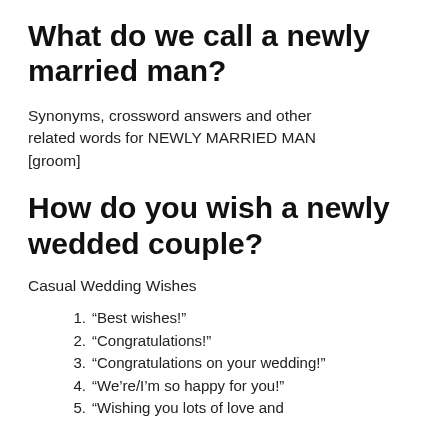What do we call a newly married man?
Synonyms, crossword answers and other related words for NEWLY MARRIED MAN [groom]
How do you wish a newly wedded couple?
Casual Wedding Wishes
1. “Best wishes!”
2. “Congratulations!”
3. “Congratulations on your wedding!”
4. “We’re/I’m so happy for you!”
5. “Wishing you lots of love and